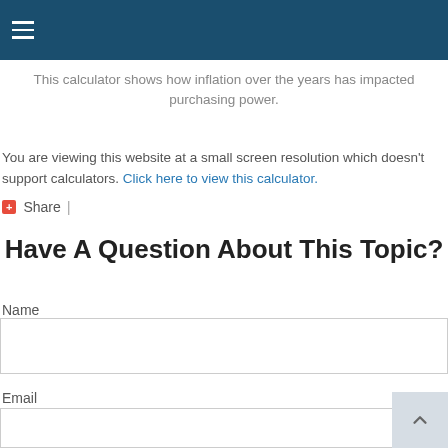Navigation menu (hamburger icon)
This calculator shows how inflation over the years has impacted purchasing power.
You are viewing this website at a small screen resolution which doesn't support calculators. Click here to view this calculator.
+ Share |
Have A Question About This Topic?
Name
Email